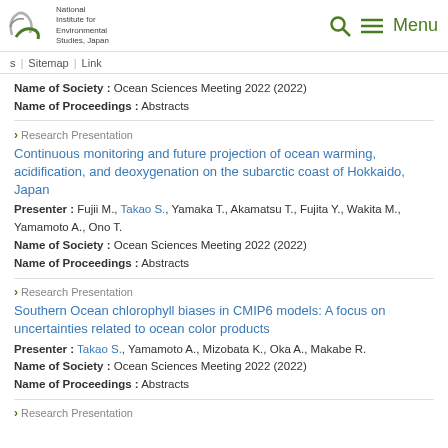National Institute for Environmental Studies, Japan | Menu
s | Sitemap | Link
Name of Society : Ocean Sciences Meeting 2022 (2022)
Name of Proceedings : Abstracts
> Research Presentation
Continuous monitoring and future projection of ocean warming, acidification, and deoxygenation on the subarctic coast of Hokkaido, Japan
Presenter : Fujii M., Takao S., Yamaka T., Akamatsu T., Fujita Y., Wakita M., Yamamoto A., Ono T.
Name of Society : Ocean Sciences Meeting 2022 (2022)
Name of Proceedings : Abstracts
> Research Presentation
Southern Ocean chlorophyll biases in CMIP6 models: A focus on uncertainties related to ocean color products
Presenter : Takao S., Yamamoto A., Mizobata K., Oka A., Makabe R.
Name of Society : Ocean Sciences Meeting 2022 (2022)
Name of Proceedings : Abstracts
> Research Presentation